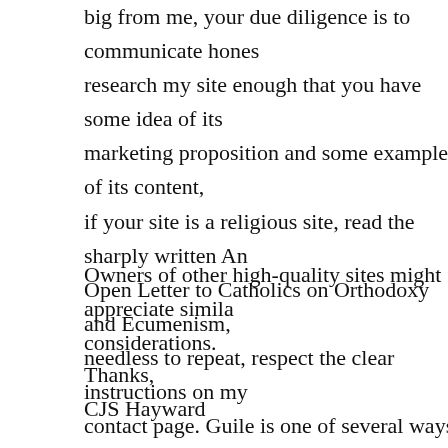big from me, your due diligence is to communicate hones research my site enough that you have some idea of its marketing proposition and some examples of its content, if your site is a religious site, read the sharply written An Open Letter to Catholics on Orthodoxy and Ecumenism, needless to repeat, respect the clear instructions on my contact page. Guile is one of several ways you can get reported for spam.
Owners of other high-quality sites might appreciate simila considerations.
Thanks,
CJS Hayward